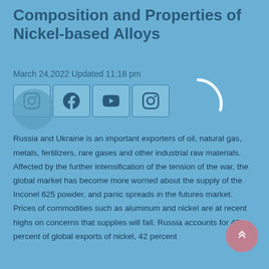Composition and Properties of Nickel-based Alloys
March 24,2022 Updated 11:18 pm
[Figure (other): Social media icon buttons: Instagram, Facebook, YouTube, Instagram]
Russia and Ukraine is an important exporters of oil, natural gas, metals, fertilizers, rare gases and other industrial raw materials. Affected by the further intensification of the tension of the war, the global market has become more worried about the supply of the Inconel 625 powder, and panic spreads in the futures market. Prices of commodities such as aluminum and nickel are at recent highs on concerns that supplies will fall. Russia accounts for 49 percent of global exports of nickel, 42 percent